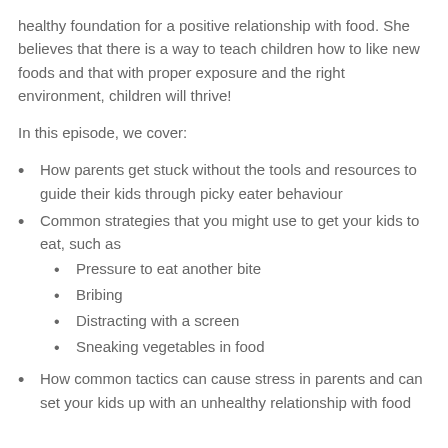healthy foundation for a positive relationship with food. She believes that there is a way to teach children how to like new foods and that with proper exposure and the right environment, children will thrive!
In this episode, we cover:
How parents get stuck without the tools and resources to guide their kids through picky eater behaviour
Common strategies that you might use to get your kids to eat, such as
Pressure to eat another bite
Bribing
Distracting with a screen
Sneaking vegetables in food
How common tactics can cause stress in parents and can set your kids up with an unhealthy relationship with food